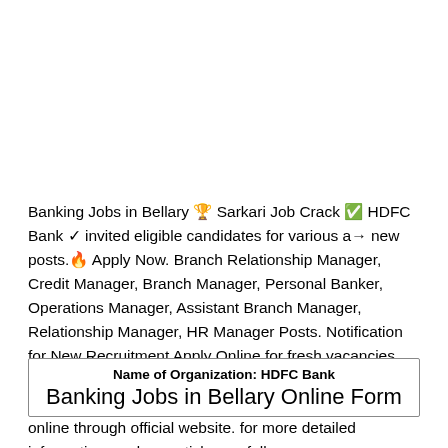Banking Jobs in Bellary 🏆 Sarkari Job Crack ✅ HDFC Bank ✓ invited eligible candidates for various a→ new posts.🔥 Apply Now. Branch Relationship Manager, Credit Manager, Branch Manager, Personal Banker, Operations Manager, Assistant Branch Manager, Relationship Manager, HR Manager Posts. Notification for New Recruitment Apply Online for fresh vacancies. Get recruitment Salary, Qualification and more details bellow. Eligible candidates can apply from today. Apply online through official website. for more detailed information read our article carefully.
| Name of Organization: HDFC Bank |
| Banking Jobs in Bellary Online Form |